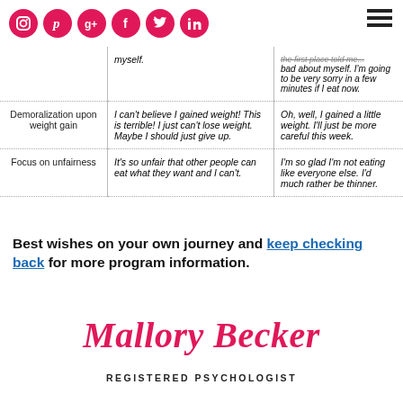Social media icons: instagram, pinterest, google+, facebook, twitter, linkedin. Hamburger menu icon.
|  | Unhealthy Thinking | Healthy Thinking |
| --- | --- | --- |
|  | myself. | the first place told me... bad about myself. I'm going to be very sorry in a few minutes if I eat now. |
| Demoralization upon weight gain | I can't believe I gained weight! This is terrible! I just can't lose weight. Maybe I should just give up. | Oh, well, I gained a little weight. I'll just be more careful this week. |
| Focus on unfairness | It's so unfair that other people can eat what they want and I can't. | I'm so glad I'm not eating like everyone else. I'd much rather be thinner. |
Best wishes on your own journey and keep checking back for more program information.
[Figure (illustration): Mallory Becker cursive signature in pink/red script font]
REGISTERED PSYCHOLOGIST